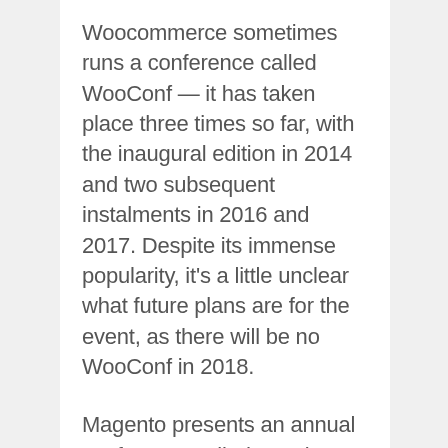Woocommerce sometimes runs a conference called WooConf — it has taken place three times so far, with the inaugural edition in 2014 and two subsequent instalments in 2016 and 2017. Despite its immense popularity, it's a little unclear what future plans are for the event, as there will be no WooConf in 2018.
Magento presents an annual conference called Imagine (the first was held in 2011), and since the company is now owned by Adobe, it's